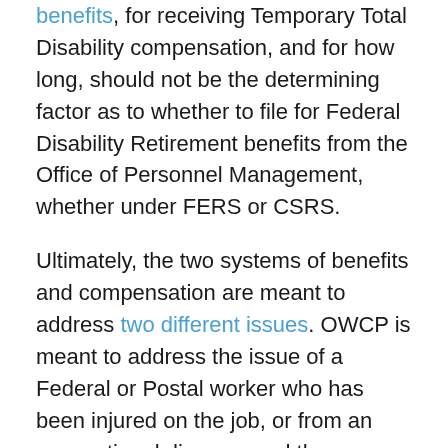benefits, for receiving Temporary Total Disability compensation, and for how long, should not be the determining factor as to whether to file for Federal Disability Retirement benefits from the Office of Personnel Management, whether under FERS or CSRS.
Ultimately, the two systems of benefits and compensation are meant to address two different issues. OWCP is meant to address the issue of a Federal or Postal worker who has been injured on the job, or from an occupational disease, and thus causation is an issue with OWCP compensation and benefits. Further, OWCP is not meant to be a retirement system — although, in more recent years, the U.S. Postal Service and some other Federal Agencies have started to use it "as if" it is a retirement system for its employees, encouraging the filing for such benefits in order to shed the agency of workers who are